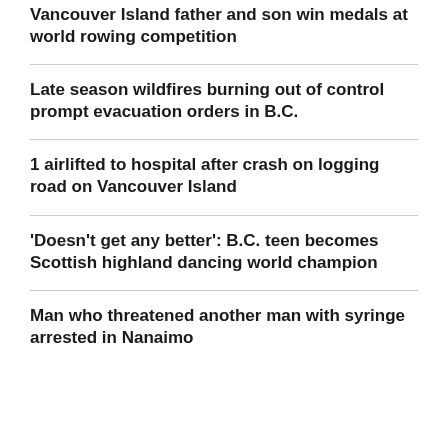Vancouver Island father and son win medals at world rowing competition
Late season wildfires burning out of control prompt evacuation orders in B.C.
1 airlifted to hospital after crash on logging road on Vancouver Island
'Doesn't get any better': B.C. teen becomes Scottish highland dancing world champion
Man who threatened another man with syringe arrested in Nanaimo